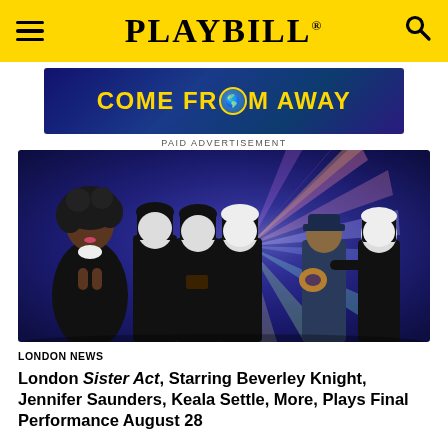PLAYBILL
[Figure (illustration): Come From Away paid advertisement banner with golden text on dark blue background with globe replacing letter O]
PAID ADVERTISEMENT
[Figure (photo): Cast photo of Sister Act London production featuring Beverley Knight in sequined outfit, three nuns, a police officer holding a pretzel, and another cast member in nun costume against a colorful burst background]
LONDON NEWS
London Sister Act, Starring Beverley Knight, Jennifer Saunders, Keala Settle, More, Plays Final Performance August 28